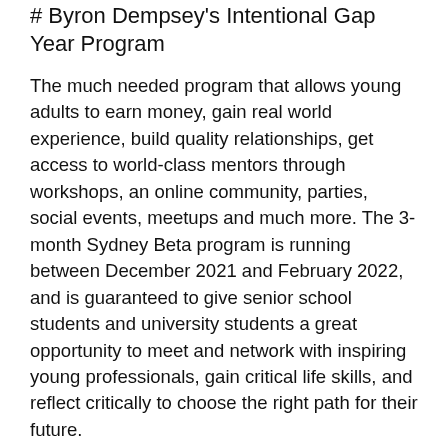# Byron Dempsey's Intentional Gap Year Program
The much needed program that allows young adults to earn money, gain real world experience, build quality relationships, get access to world-class mentors through workshops, an online community, parties, social events, meetups and much more. The 3-month Sydney Beta program is running between December 2021 and February 2022, and is guaranteed to give senior school students and university students a great opportunity to meet and network with inspiring young professionals, gain critical life skills, and reflect critically to choose the right path for their future.